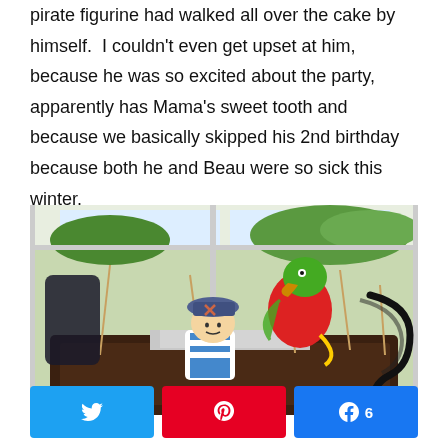pirate figurine had walked all over the cake by himself. I couldn't even get upset at him, because he was so excited about the party, apparently has Mama's sweet tooth and because we basically skipped his 2nd birthday because both he and Beau were so sick this winter.
[Figure (photo): Close-up photo of a birthday cake with pirate figurines on top — a small pirate with a blue hat and a red parrot, surrounded by toothpick decorations and chocolate frosting.]
Social share buttons: Twitter, Pinterest, Facebook (6)